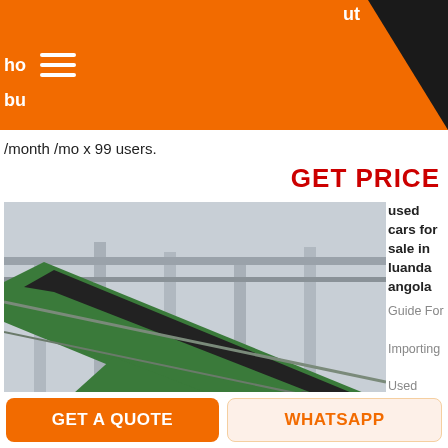ut ho bu
/month /mo x 99 users.
GET PRICE
[Figure (photo): Industrial facility interior showing green steel conveyor belt structures and metal framework]
used cars for sale in luanda angola Guide For Importing Used Cars To Angola Africa From
Germany. All about importing used cars to Angola from Germany Duties VATs. ... historical fortress built by the Portuguese in 1576
GET A QUOTE
WHATSAPP